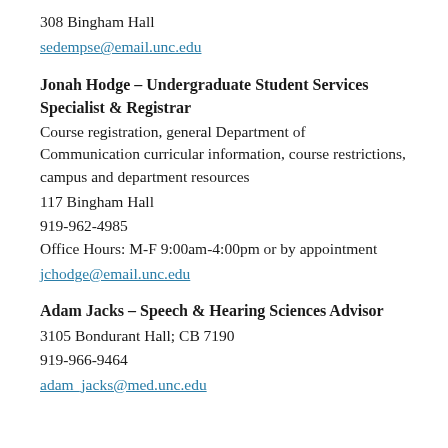308 Bingham Hall
sedempse@email.unc.edu
Jonah Hodge – Undergraduate Student Services Specialist & Registrar
Course registration, general Department of Communication curricular information, course restrictions, campus and department resources
117 Bingham Hall
919-962-4985
Office Hours: M-F 9:00am-4:00pm or by appointment
jchodge@email.unc.edu
Adam Jacks – Speech & Hearing Sciences Advisor
3105 Bondurant Hall; CB 7190
919-966-9464
adam_jacks@med.unc.edu